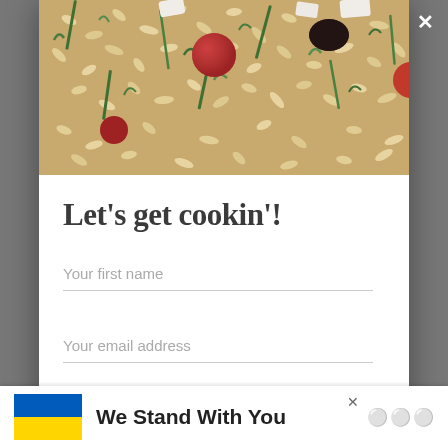[Figure (photo): Close-up photo of orzo pasta salad with herbs, cherry tomatoes, dried cranberries, and feta cheese]
Let's get cookin'!
Your first name
Your email address
[Figure (infographic): Advertisement banner with Ukrainian flag (blue and yellow) and text 'We Stand With You' with a close button and logo]
We Stand With You